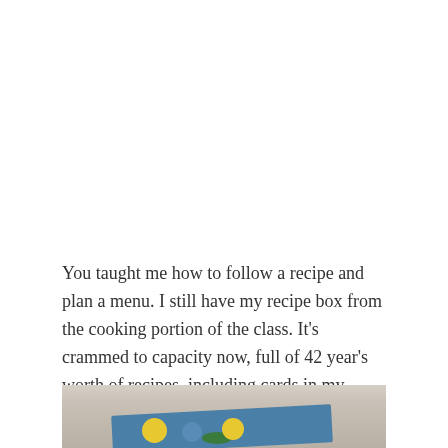You taught me how to follow a recipe and plan a menu. I still have my recipe box from the cooking portion of the class.  It's crammed to capacity now, full of 42 year's worth of recipes, including cards in my mother's and my grandmother's handwriting.
[Figure (photo): Bottom portion of a decorative recipe box with floral pattern showing blue, yellow and green flowers on a light background]